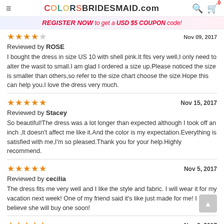COLORSBRIDESMAID.com
REGISTER NOW to get a USD $5 COUPON code!
Reviewed by ROSE
I bought the dress in size US 10 with shell pink.It fits very well,I only need to alter the wasit to small.I am glad I ordered a size up.Please noticed the size is smaller than others,so refer to the size chart choose the size.Hope this can help you.I love the dress very much.
Nov 15, 2017
Reviewed by Stacey
So beautiful!The dress was a lot longer than expected although I took off an inch ,It doesn't affect me like it.And the color is my expectation.Everything is satisfied with me,I'm so pleased.Thank you for your help.Highly recommend.
Nov 5, 2017
Reviewed by cecilia
The dress fits me very well and I like the style and fabric. I will wear it for my vacation next week! One of my friend said it's like just made for me! I believe she will buy one soon!
Nov 3, 2017